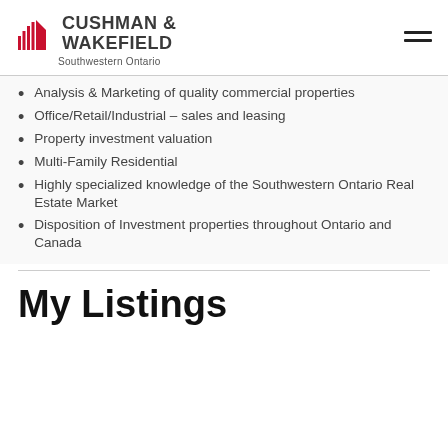CUSHMAN & WAKEFIELD Southwestern Ontario
Analysis & Marketing of quality commercial properties
Office/Retail/Industrial – sales and leasing
Property investment valuation
Multi-Family Residential
Highly specialized knowledge of the Southwestern Ontario Real Estate Market
Disposition of Investment properties throughout Ontario and Canada
My Listings